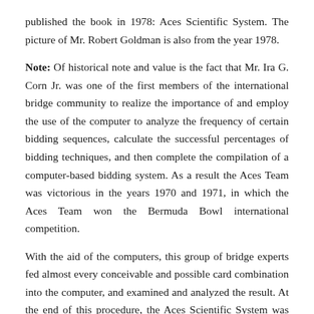published the book in 1978: Aces Scientific System. The picture of Mr. Robert Goldman is also from the year 1978.
Note: Of historical note and value is the fact that Mr. Ira G. Corn Jr. was one of the first members of the international bridge community to realize the importance of and employ the use of the computer to analyze the frequency of certain bidding sequences, calculate the successful percentages of bidding techniques, and then complete the compilation of a computer-based bidding system. As a result the Aces Team was victorious in the years 1970 and 1971, in which the Aces Team won the Bermuda Bowl international competition.
With the aid of the computers, this group of bridge experts fed almost every conceivable and possible card combination into the computer, and examined and analyzed the result. At the end of this procedure, the Aces Scientific System was born. For every card combination held there were precise bidding standards, even for those situations when the